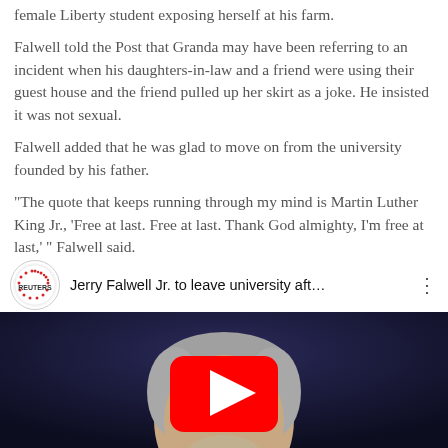female Liberty student exposing herself at his farm. Falwell told the Post that Granda may have been referring to an incident when his daughters-in-law and a friend were using their guest house and the friend pulled up her skirt as a joke. He insisted it was not sexual. Falwell added that he was glad to move on from the university founded by his father. "The quote that keeps running through my mind is Martin Luther King Jr., 'Free at last. Free at last. Thank God almighty, I'm free at last,' " Falwell said.
[Figure (screenshot): YouTube video thumbnail showing Reuters video titled 'Jerry Falwell Jr. to leave university aft...' with a man's face visible on a dark blue background and a YouTube play button overlay.]